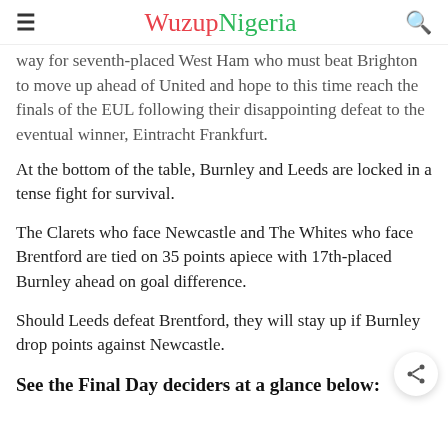WuzupNigeria
way for seventh-placed West Ham who must beat Brighton to move up ahead of United and hope to this time reach the finals of the EUL following their disappointing defeat to the eventual winner, Eintracht Frankfurt.
At the bottom of the table, Burnley and Leeds are locked in a tense fight for survival.
The Clarets who face Newcastle and The Whites who face Brentford are tied on 35 points apiece with 17th-placed Burnley ahead on goal difference.
Should Leeds defeat Brentford, they will stay up if Burnley drop points against Newcastle.
See the Final Day deciders at a glance below: